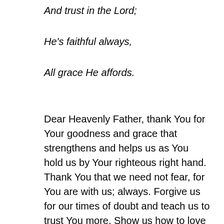And trust in the Lord;
He's faithful always,
All grace He affords.
Dear Heavenly Father, thank You for Your goodness and grace that strengthens and helps us as You hold us by Your righteous right hand. Thank You that we need not fear, for You are with us; always. Forgive us for our times of doubt and teach us to trust You more. Show us how to love those around us with Your strength and help, as You supply all that we need to walk in Your ways. May many